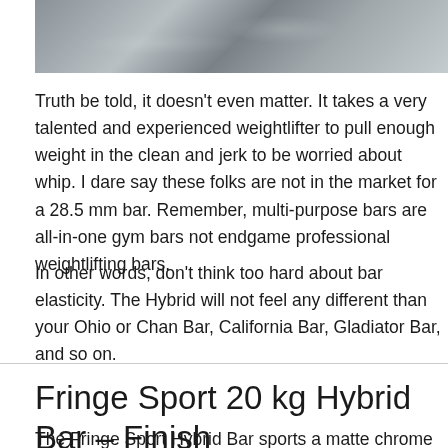[Figure (photo): Close-up photo of a metal barbell with matte chrome/silver finish showing texture and light reflections]
Truth be told, it doesn't even matter. It takes a very talented and experienced weightlifter to pull enough weight in the clean and jerk to be worried about whip. I dare say these folks are not in the market for a 28.5 mm bar. Remember, multi-purpose bars are all-in-one gym bars not endgame professional weightlifting bars.
In other words, don't think too hard about bar elasticity. The Hybrid will not feel any different than your Ohio or Chan Bar, California Bar, Gladiator Bar, and so on.
Fringe Sport 20 kg Hybrid Bar – Finish
The Fringe Sport Hybrid Bar sports a matte chrome finish on the